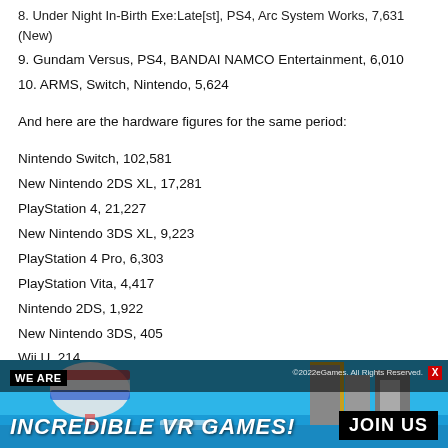8. Under Night In-Birth Exe:Late[st], PS4, Arc System Works, 7,631 (New)
9. Gundam Versus, PS4, BANDAI NAMCO Entertainment, 6,010
10. ARMS, Switch, Nintendo, 5,624
And here are the hardware figures for the same period:
Nintendo Switch, 102,581
New Nintendo 2DS XL, 17,281
PlayStation 4, 21,227
New Nintendo 3DS XL, 9,223
PlayStation 4 Pro, 6,303
PlayStation Vita, 4,417
Nintendo 2DS, 1,922
New Nintendo 3DS, 405
Wii U, 214
PlayStation 3, 142
Xbox One S, 102
[Figure (infographic): Advertisement banner: WE ARE INCREDIBLE VR GAMES! JOIN US, with city building game background]